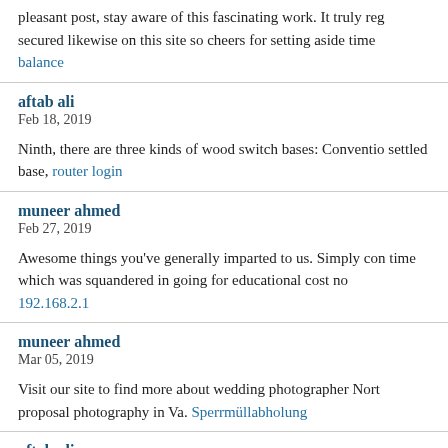pleasant post, stay aware of this fascinating work. It truly reg secured likewise on this site so cheers for setting aside time balance
aftab ali
Feb 18, 2019
Ninth, there are three kinds of wood switch bases: Conventio settled base, router login
muneer ahmed
Feb 27, 2019
Awesome things you've generally imparted to us. Simply con time which was squandered in going for educational cost no 192.168.2.1
muneer ahmed
Mar 05, 2019
Visit our site to find more about wedding photographer Nort proposal photography in Va. Sperrmüllabholung
aftab ali